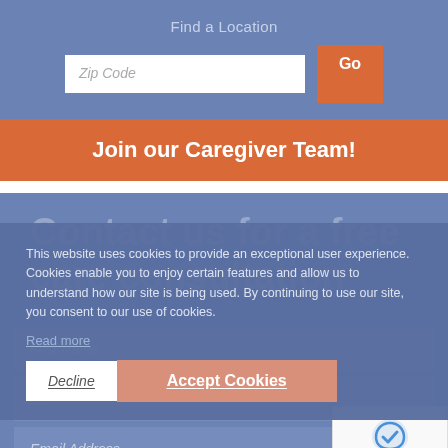Find a Location
Zip Code
Go
Join our Caregiver Team!
Contact us for a free care consultation
This website uses cookies to provide an exceptional user experience. Cookies enable you to enjoy certain features and allow us to understand how our site is being used. By continuing to use our site, you consent to our use of cookies.
Read more
Decline
Accept Cookies
First Name
Last Name
Email Address
Privacy - Terms